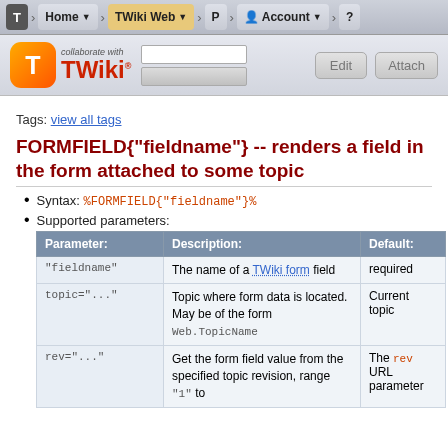T | Home | TWiki Web | P | Account | ?
[Figure (logo): TWiki logo with orange T icon and 'collaborate with TWiki' text, plus search boxes and Edit/Attach buttons]
Tags: view all tags
FORMFIELD{"fieldname"} -- renders a field in the form attached to some topic
Syntax: %FORMFIELD{"fieldname"}%
Supported parameters:
| Parameter: | Description: | Default: |
| --- | --- | --- |
| "fieldname" | The name of a TWiki form field | required |
| topic="..." | Topic where form data is located. May be of the form Web.TopicName | Current topic |
| rev="..." | Get the form field value from the specified topic revision, range "1" to | The rev URL parameter |